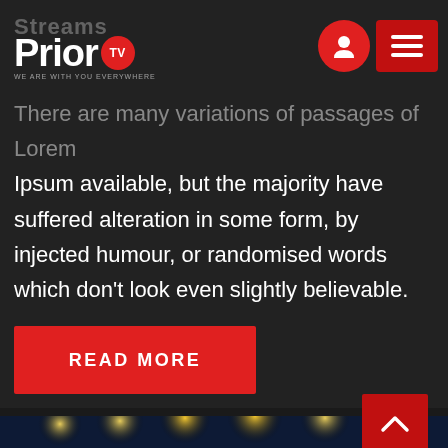Streams PriorTV — WE ARE WITH YOU EVERYWHERE
There are many variations of passages of Lorem Ipsum available, but the majority have suffered alteration in some form, by injected humour, or randomised words which don't look even slightly believable.
READ MORE
[Figure (photo): Concert stage photo showing bright warm stage lights and blue LED lights in the background, with silhouettes of instruments or crowd at the bottom.]